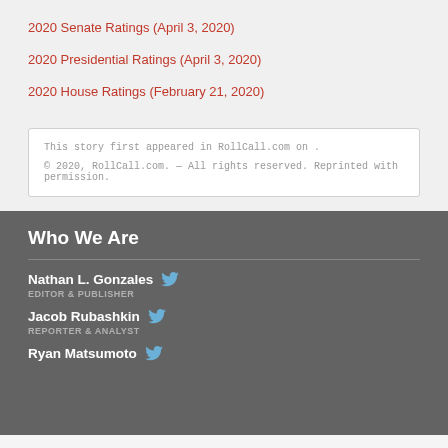2020 Senate Ratings (April 3, 2020)
2020 Presidential Ratings (April 3, 2020)
2020 House Ratings (February 21, 2020)
This story first appeared in RollCall.com on .
© 2020, RollCall.com. — All rights reserved. Reprinted with permission.
Who We Are
Nathan L. Gonzales
EDITOR & PUBLISHER
Jacob Rubashkin
REPORTER & ANALYST
Ryan Matsumoto